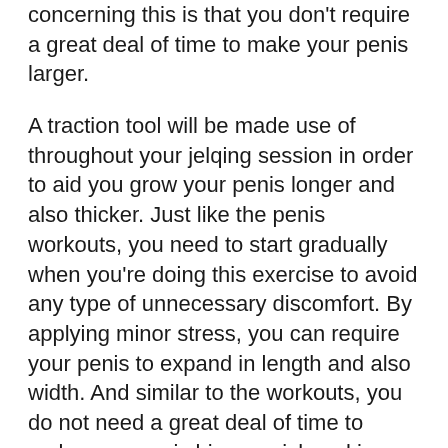concerning this is that you don't require a great deal of time to make your penis larger.
A traction tool will be made use of throughout your jelqing session in order to aid you grow your penis longer and also thicker. Just like the penis workouts, you need to start gradually when you're doing this exercise to avoid any type of unnecessary discomfort. By applying minor stress, you can require your penis to expand in length and also width. And similar to the workouts, you do not need a great deal of time to make your penis bigger prick making use of a traction device.
How To Stroke A Small Penis